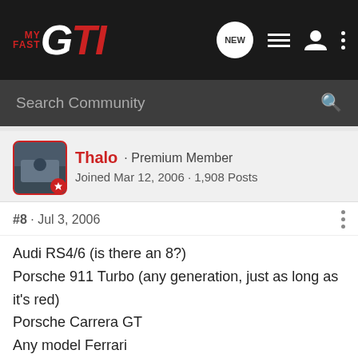MY FAST GTI
Search Community
Thalo · Premium Member
Joined Mar 12, 2006 · 1,908 Posts
#8 · Jul 3, 2006
Audi RS4/6 (is there an 8?)
Porsche 911 Turbo (any generation, just as long as it's red)
Porsche Carrera GT
Any model Ferrari
Any model Lambo
Mercedes SL600
Intermediate dream cars, perhaps my next car if I get a couple promotions:
Audi TT